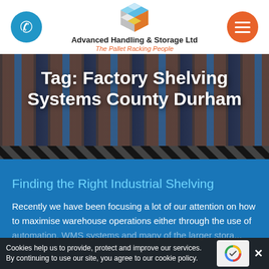[Figure (logo): Advanced Handling & Storage Ltd logo with colorful 3D cube graphic, phone button (blue circle) on left, hamburger menu button (orange circle) on right]
Advanced Handling & Storage Ltd
The Pallet Racking People
[Figure (photo): Warehouse interior with orange and blue pallet racking systems, dark overlay]
Tag: Factory Shelving Systems County Durham
Finding the Right Industrial Shelving
Recently we have been focusing a lot of our attention on how to maximise warehouse operations either through the use of automation, WMS systems and many of the larger storage...
Cookies help us to provide, protect and improve our services. By continuing to use our site, you agree to our cookie policy. ✕